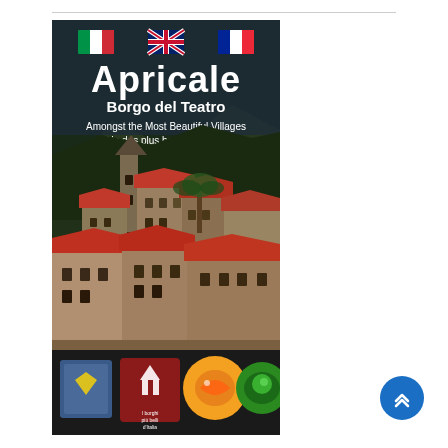[Figure (photo): Cover of a tourism brochure for Apricale, Italy. The brochure shows a photograph of the medieval village of Apricale with its church tower, stone buildings with red-tiled roofs, and hillside setting. At the top are three flags: Italian, UK (Union Jack), and French. The title reads 'Apricale' in large white text, with subtitle 'Borgo del Teatro', followed by 'Amongst the Most Beautiful Villages' and 'Un des plus beaux villages'. At the bottom are logos including a municipal coat of arms, 'I Borghi più belli d'Italia' logo, and other organization badges.]